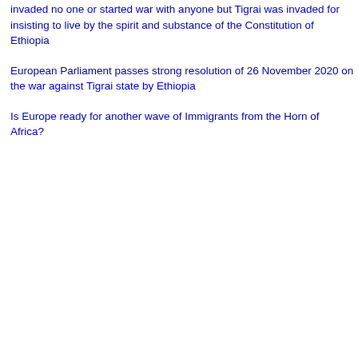Tigrai never rebelled against anyone, invaded no one or started war with anyone but Tigrai was invaded for insisting to live by the spirit and substance of the Constitution of Ethiopia
European Parliament passes strong resolution of 26 November 2020 on the war against Tigrai state by Ethiopia
Is Europe ready for another wave of Immigrants from the Horn of Africa?